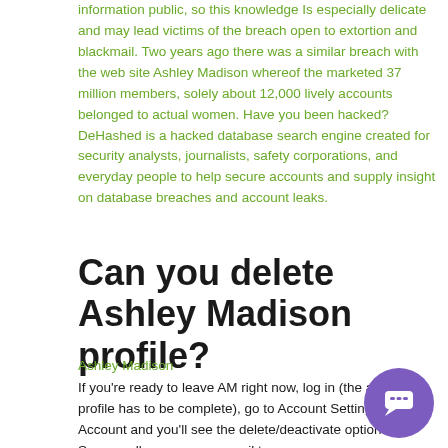information public, so this knowledge is especially delicate and may lead victims of the breach open to extortion and blackmail. Two years ago there was a similar breach with the web site Ashley Madison whereof the marketed 37 million members, solely about 12,000 lively accounts belonged to actual women. Have you been hacked? DeHashed is a hacked database search engine created for security analysts, journalists, safety corporations, and everyday people to help secure accounts and supply insight on database breaches and account leaks.
Can you delete Ashley Madison profile?
Ashley Madison
If you're ready to leave AM right now, log in (the account profile has to be complete), go to Account Settings > My Account and you'll see the delete/deactivate option. Supposedly you can an email to privacy@ashleymadison.com with subject line "REQUEST TO DELETE MY ACCOUNT."
[Figure (other): Purple circular chat/messaging button with white chat icon in the bottom right corner]